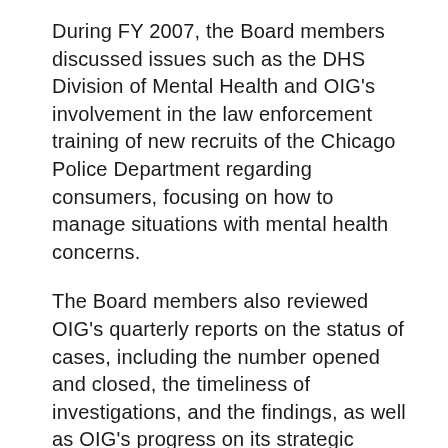During FY 2007, the Board members discussed issues such as the DHS Division of Mental Health and OIG's involvement in the law enforcement training of new recruits of the Chicago Police Department regarding consumers, focusing on how to manage situations with mental health concerns.
The Board members also reviewed OIG's quarterly reports on the status of cases, including the number opened and closed, the timeliness of investigations, and the findings, as well as OIG's progress on its strategic objectives and related benchmarks. The Board members discussed the report of the Auditor General's FY 2005-2006 program audit of OIG and the corrective actions that OIG planned and had implemented.
Finally, various OIG staff gave presentations on the functions of the office. The presentations...